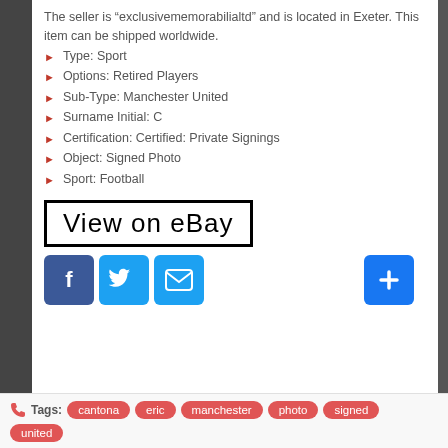The seller is “exclusivememorabilialtd” and is located in Exeter. This item can be shipped worldwide.
Type: Sport
Options: Retired Players
Sub-Type: Manchester United
Surname Initial: C
Certification: Certified: Private Signings
Object: Signed Photo
Sport: Football
[Figure (other): View on eBay button with black border, large text]
[Figure (other): Social share buttons: Facebook, Twitter, Email, and a plus button]
Tags: cantona eric manchester photo signed united